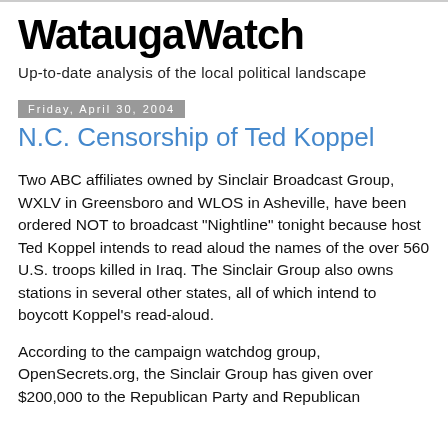WataugaWatch
Up-to-date analysis of the local political landscape
Friday, April 30, 2004
N.C. Censorship of Ted Koppel
Two ABC affiliates owned by Sinclair Broadcast Group, WXLV in Greensboro and WLOS in Asheville, have been ordered NOT to broadcast "Nightline" tonight because host Ted Koppel intends to read aloud the names of the over 560 U.S. troops killed in Iraq. The Sinclair Group also owns stations in several other states, all of which intend to boycott Koppel's read-aloud.
According to the campaign watchdog group, OpenSecrets.org, the Sinclair Group has given over $200,000 to the Republican Party and Republican